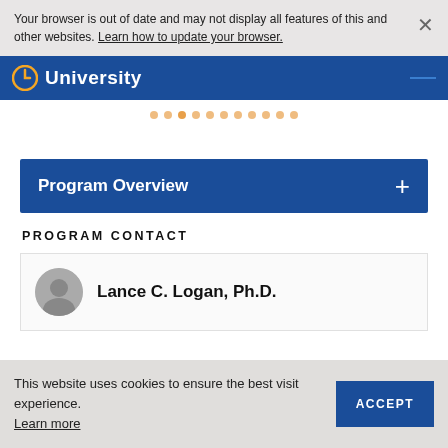Your browser is out of date and may not display all features of this and other websites. Learn how to update your browser.
[Figure (screenshot): University navigation bar with logo icon and 'University' text on dark blue background]
[Figure (other): Carousel dot indicators, orange dots in a row]
Program Overview
PROGRAM CONTACT
Lance C. Logan, Ph.D.
This website uses cookies to ensure the best visit experience. Learn more